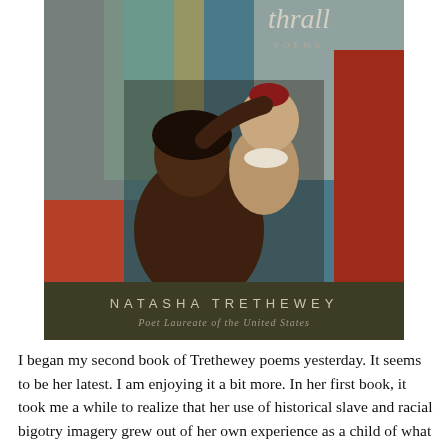[Figure (illustration): Book cover of 'thrall: POEMS' by Natasha Trethewey, Poet Laureate of the United States. The cover features a classical painting of a dark-skinned woman holding a light-skinned baby/toddler. The background shows ornate drapery. At the top is the italic title 'thrall' with 'POEMS' below it. At the bottom is a dark olive/brown banner with 'NATASHA TRETHEWEY' in spaced capital letters and 'Poet Laureate of the United States' in italic below.]
I began my second book of Trethewey poems yesterday. It seems to be her latest. I am enjoying it a bit more. In her first book, it took me a while to realize that her use of historical slave and racial bigotry imagery grew out of her own experience as a child of what we used to quaintly call a